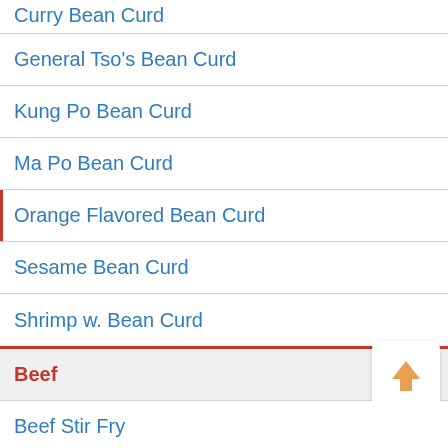Curry Bean Curd
General Tso's Bean Curd
Kung Po Bean Curd
Ma Po Bean Curd
Orange Flavored Bean Curd
Sesame Bean Curd
Shrimp w. Bean Curd
Beef
Beef Stir Fry
Beef w. Garlic Sauce
Beef with Bean Sprouts